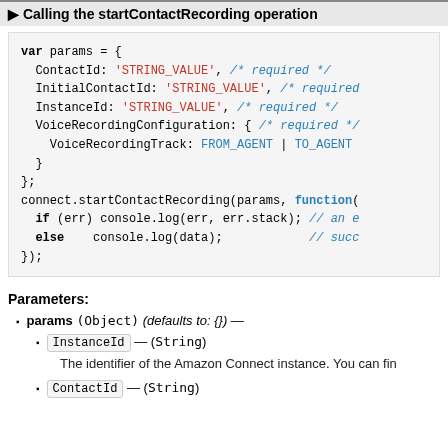Calling the startContactRecording operation
[Figure (screenshot): Code block showing JavaScript params object and connect.startContactRecording function call with ContactId, InitialContactId, InstanceId, VoiceRecordingConfiguration parameters]
Parameters:
params (Object) (defaults to: {}) —
InstanceId — (String)
The identifier of the Amazon Connect instance. You can fin
ContactId — (String)